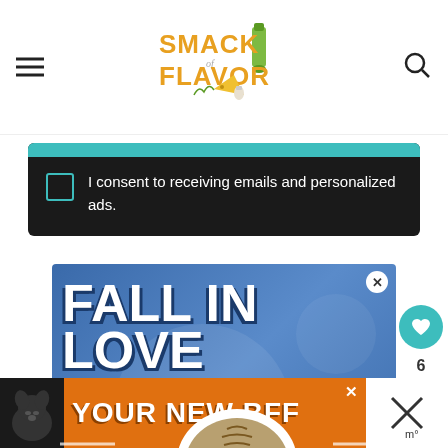Smack of Flavor — navigation header with logo, hamburger menu, and search icon
I consent to receiving emails and personalized ads.
[Figure (advertisement): Blue advertisement with bold white text reading FALL IN LOVE and a cat image at the bottom]
[Figure (advertisement): Orange bottom banner advertisement with dog photo and text YOUR NEW BFF]